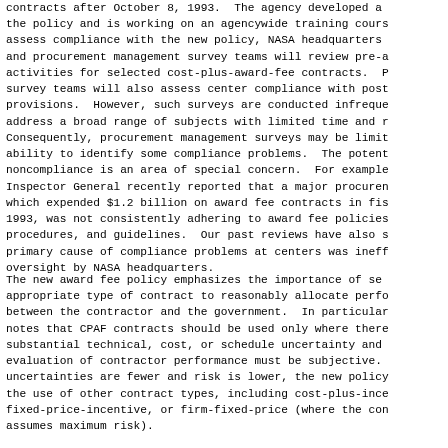The new award fee policy applies to all solicitations and contracts after October 8, 1993. The agency developed a guide to the policy and is working on an agencywide training course. To assess compliance with the new policy, NASA headquarters quality and procurement management survey teams will review pre-award activities for selected cost-plus-award-fee contracts. In addition, survey teams will also assess center compliance with post-award provisions. However, such surveys are conducted infrequently and address a broad range of subjects with limited time and resources. Consequently, procurement management surveys may be limited in their ability to identify some compliance problems. The potential for noncompliance is an area of special concern. For example, NASA's Inspector General recently reported that a major procurement center, which expended $1.2 billion on award fee contracts in fiscal year 1993, was not consistently adhering to award fee policies, procedures, and guidelines. Our past reviews have also showed that a primary cause of compliance problems at centers was ineffective oversight by NASA headquarters.
The new award fee policy emphasizes the importance of selecting the appropriate type of contract to reasonably allocate performance risk between the contractor and the government. In particular, the policy notes that CPAF contracts should be used only where there is substantial technical, cost, or schedule uncertainty and where evaluation of contractor performance must be subjective. Where uncertainties are fewer and risk is lower, the new policy encourages the use of other contract types, including cost-plus-incentive-fee, fixed-price-incentive, or firm-fixed-price (where the contractor assumes maximum risk).